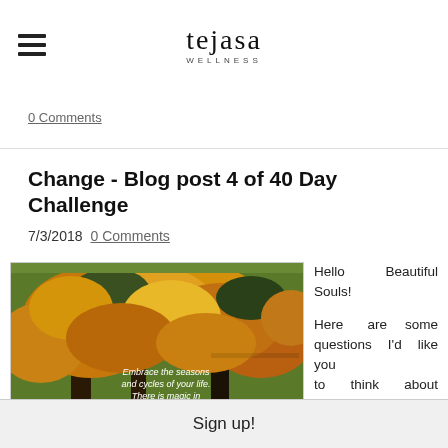tejasa WELLNESS
0 Comments
Change - Blog post 4 of 40 Day Challenge
7/3/2018   0 Comments
[Figure (photo): Autumn tree with yellow/orange foliage and overlaid quote text: 'Embrace the seasons and cycles of your life. There is magic in CHANGE.']
Hello Beautiful Souls!

Here are some questions I'd like you to think about because they are questions I ask
Sign up!